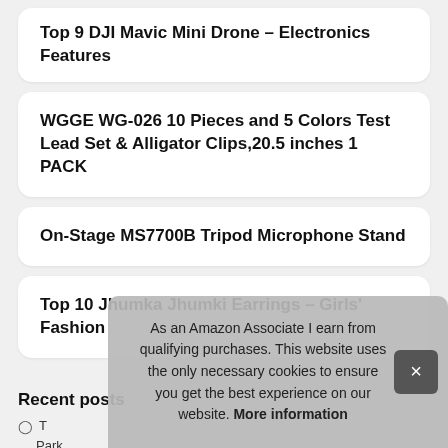Top 9 DJI Mavic Mini Drone – Electronics Features
WGGE WG-026 10 Pieces and 5 Colors Test Lead Set & Alligator Clips,20.5 inches 1 PACK
On-Stage MS7700B Tripod Microphone Stand
Top 10 Jhumka Jhumki Earrings – Girls' Fashion
Recent posts
T… Parkas
T… Parkas
As an Amazon Associate I earn from qualifying purchases. This website uses the only necessary cookies to ensure you get the best experience on our website. More information